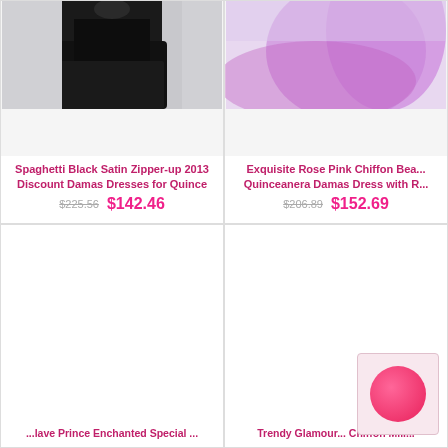[Figure (photo): Black satin evening dress product photo on grey background]
Spaghetti Black Satin Zipper-up 2013 Discount Damas Dresses for Quince
$225.56  $142.46
[Figure (photo): Rose pink chiffon quinceanera damas dress product photo]
Exquisite Rose Pink Chiffon Bea... Quinceanera Damas Dress with R...
$206.89  $152.69
[Figure (photo): Empty white product image placeholder - bottom left card]
... Dress for Quince...
[Figure (photo): Empty white product image with pink color swatch overlay - bottom right card]
Trendy Glamour... Chiffon Mili...